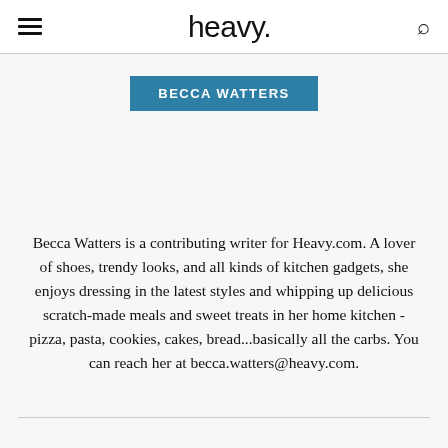heavy.
BECCA WATTERS
Becca Watters is a contributing writer for Heavy.com. A lover of shoes, trendy looks, and all kinds of kitchen gadgets, she enjoys dressing in the latest styles and whipping up delicious scratch-made meals and sweet treats in her home kitchen - pizza, pasta, cookies, cakes, bread...basically all the carbs. You can reach her at becca.watters@heavy.com.